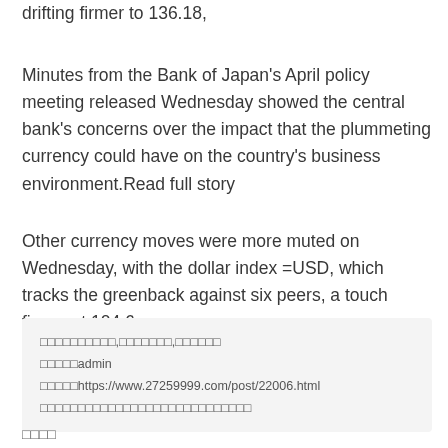24-year low of 160.2 per dollar in early trading, before drifting firmer to 136.18,
Minutes from the Bank of Japan's April policy meeting released Wednesday showed the central bank's concerns over the impact that the plummeting currency could have on the country's business environment.Read full story
Other currency moves were more muted on Wednesday, with the dollar index =USD, which tracks the greenback against six peers, a touch firmer at 104.6.
□□□□□□□□□□,□□□□□□□,□□□□□□
□□□□□admin
□□□□□https://www.27259999.com/post/22006.html
□□□□□□□□□□□□□□□□□□□□□□□□□□□□
□□□□